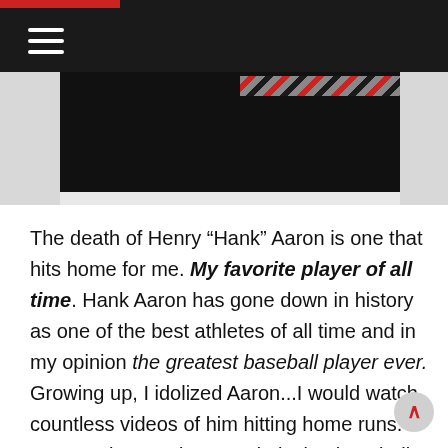Navigation header bar with hamburger menu
[Figure (photo): Dark/black image block with diagonal striped accent in red and grey at top right corner]
The death of Henry “Hank” Aaron is one that hits home for me. My favorite player of all time. Hank Aaron has gone down in history as one of the best athletes of all time and in my opinion the greatest baseball player ever. Growing up, I idolized Aaron...I would watch countless videos of him hitting home runs. I was so obsessed I started playing baseball and wore number “44”. I spent hours imitating his swing and most importantly did my best